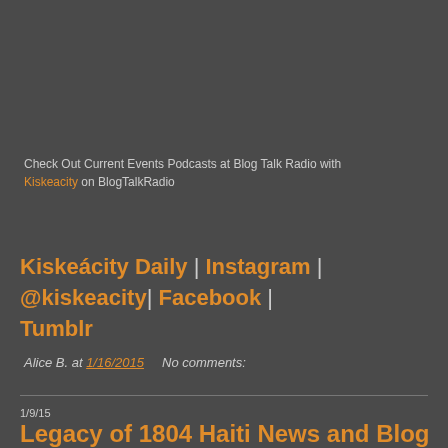Check Out Current Events Podcasts at Blog Talk Radio with Kiskeacity on BlogTalkRadio
Kiskeácity Daily | Instagram | @kiskeacity| Facebook | Tumblr
Alice B. at 1/16/2015    No comments:
1/9/15
Legacy of 1804 Haiti News and Blog Review #LOF1804